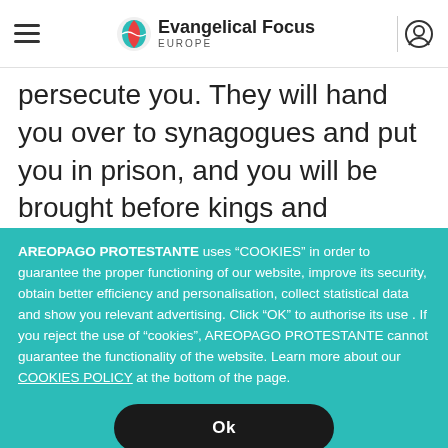Evangelical Focus Europe
persecute you. They will hand you over to synagogues and put you in prison, and you will be brought before kings and governors, and all on account of my name. And so you will bear testimony to me. But make up your
AREOPAGO PROTESTANTE uses “COOKIES” in order to guarantee the proper functioning of our website, improve its security, obtain better efficiency and personalisation, collect statistical data and show you relevant advertising. Click “OK” to authorise its use . If you reject the use of “cookies”, AREOPAGO PROTESTANTE cannot guarantee the functionality of the website. Learn more about our COOKIES POLICY at the bottom of the page.
Ok